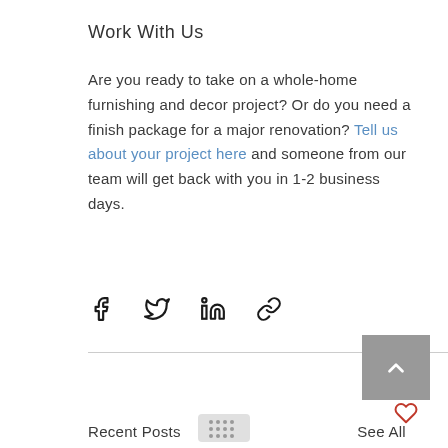Work With Us
Are you ready to take on a whole-home furnishing and decor project? Or do you need a finish package for a major renovation? Tell us about your project here and someone from our team will get back with you in 1-2 business days.
[Figure (infographic): Social share icons: Facebook, Twitter, LinkedIn, and link/chain icon]
[Figure (infographic): Scroll-to-top button (grey square with upward chevron) and heart/like icon below]
Recent Posts   See All